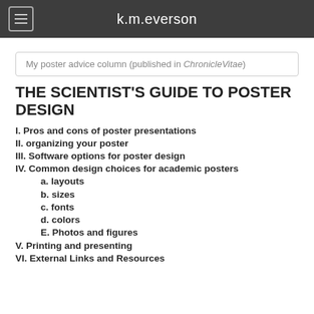k.m.everson
My poster advice column (published in ChronicleVitae)
THE SCIENTIST'S GUIDE TO POSTER DESIGN
I. Pros and cons of poster presentations
II. organizing your poster
III. Software options for poster design
IV. Common design choices for academic posters
a. layouts
b. sizes
c. fonts
d. colors
E. Photos and figures
V. Printing and presenting
VI. External Links and Resources